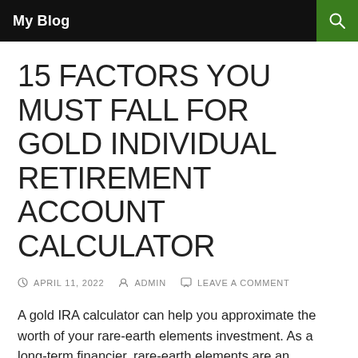My Blog
15 FACTORS YOU MUST FALL FOR GOLD INDIVIDUAL RETIREMENT ACCOUNT CALCULATOR
APRIL 11, 2022  ADMIN  LEAVE A COMMENT
A gold IRA calculator can help you approximate the worth of your rare-earth elements investment. As a long-term financier, rare-earth elements are an excellent selection because of their security. You will know just how much you will be able to sell an item at if the market drops. Making use of a gold individual retirement account calculator will assist you make a smart